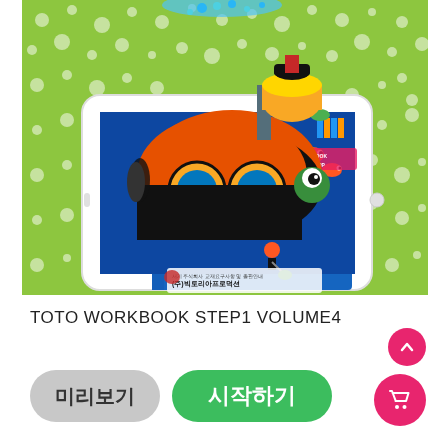[Figure (illustration): Children's educational book product image showing an illustrated submarine/fish character in orange and black popping out of a tablet screen, with an underwater-themed book (TOTO sea adventure) visible on the screen. Green polka-dot background. Korean publisher information visible at bottom: (주)빅토리아프로덕션. Text on image: SCAN THE COVER TO WATCH ANIMATION IN AUGMENTED REALITY.]
TOTO WORKBOOK STEP1 VOLUME4
[Figure (other): Two buttons: grey rounded button labeled 미리보기 (Preview) and green rounded button labeled 시작하기 (Start). Pink circular cart button at bottom right. Pink circular up-arrow button above cart.]